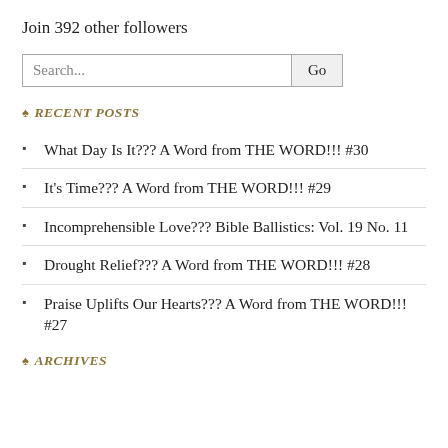Join 392 other followers
[Figure (other): Search input box with 'Search...' placeholder and a 'Go' button]
♠ RECENT POSTS
What Day Is It??? A Word from THE WORD!!! #30
It's Time??? A Word from THE WORD!!! #29
Incomprehensible Love??? Bible Ballistics: Vol. 19 No. 11
Drought Relief??? A Word from THE WORD!!! #28
Praise Uplifts Our Hearts??? A Word from THE WORD!!! #27
♠ ARCHIVES